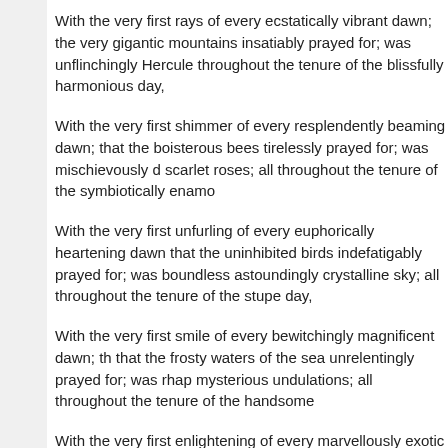With the very first rays of every ecstatically vibrant dawn; the very gigantic mountains insatiably prayed for; was unflinchingly Hercule throughout the tenure of the blissfully harmonious day,
With the very first shimmer of every resplendently beaming dawn; that the boisterous bees tirelessly prayed for; was mischievously d scarlet roses; all throughout the tenure of the symbiotically enamo
With the very first unfurling of every euphorically heartening dawn that the uninhibited birds indefatigably prayed for; was boundless astoundingly crystalline sky; all throughout the tenure of the stupe day,
With the very first smile of every bewitchingly magnificent dawn; th that the frosty waters of the sea unrelentingly prayed for; was rhap mysterious undulations; all throughout the tenure of the handsome
With the very first enlightening of every marvellously exotic dawn; that the compassionately moistened leaves of the forest immutabl enthrallingly timeless and vivacious adventure; all throughout the unfathomably mesmerizing day,
With the very first sparkle of every ebulliently innocuous dawn; the the impeccably wailing infant inexorably prayed for; was divinely u mother; all throughout the tenure of the fantastically panoramic day,